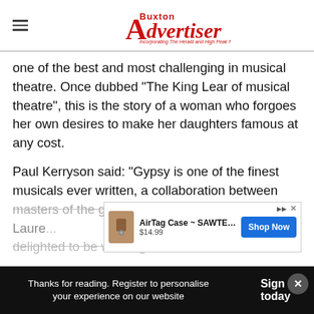Buxton Advertiser — Incorporating The Herald and High Peak News
one of the best and most challenging in musical theatre. Once dubbed “The King Lear of musical theatre”, this is the story of a woman who forgoes her own desires to make her daughters famous at any cost.
Paul Kerryson said: “Gypsy is one of the finest musicals ever written, a collaboration between masters of the genre, Jule Styne, Arthur Laure… we’re delighted to be working with Buxton…
[Figure (other): AirTag Case advertisement overlay: AirTag Case ~ SAWTELLE... $14.99, Shop Now button]
Thanks for reading. Register to personalise your experience on our website